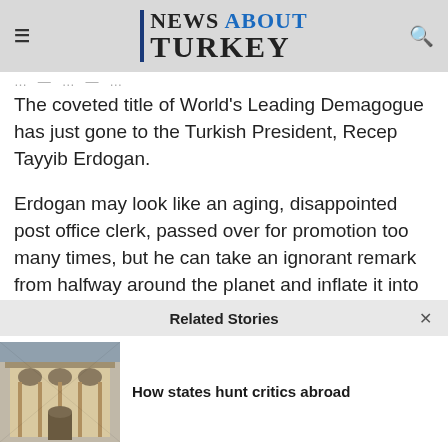NEWS ABOUT TURKEY
The coveted title of World's Leading Demagogue has just gone to the Turkish President, Recep Tayyib Erdogan.
Erdogan may look like an aging, disappointed post office clerk, passed over for promotion too many times, but he can take an ignorant remark from halfway around the planet and inflate it into an existential threat to Turkey's future. He's desperately
Related Stories
[Figure (photo): Thumbnail photo of a building exterior]
How states hunt critics abroad